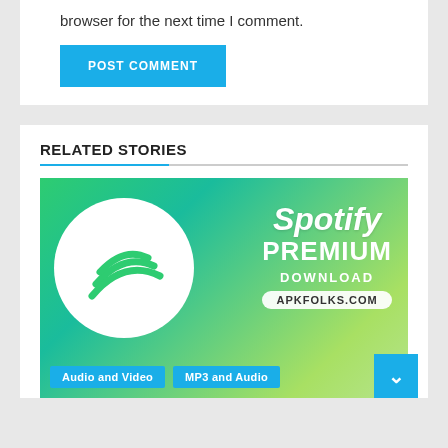browser for the next time I comment.
POST COMMENT
RELATED STORIES
[Figure (illustration): Spotify Premium Download banner with Spotify logo (white circle with green sound wave lines) on green gradient background, text: Spotify PREMIUM DOWNLOAD APKFOLKS.COM, with tags Audio and Video, MP3 and Audio]
Audio and Video
MP3 and Audio